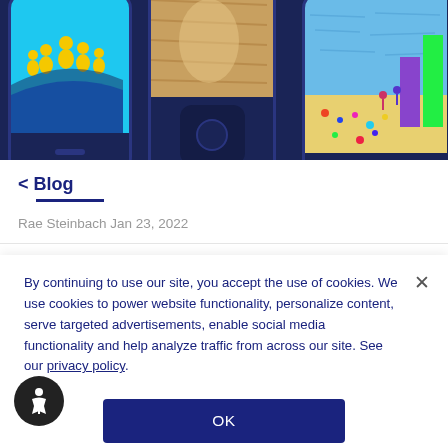[Figure (screenshot): Hero image showing three mobile phone mockups with game screenshots on a dark navy background]
< Blog
Rae Steinbach Jan 23, 2022
By continuing to use our site, you accept the use of cookies. We use cookies to power website functionality, personalize content, serve targeted advertisements, enable social media functionality and help analyze traffic from across our site. See our privacy policy.
OK